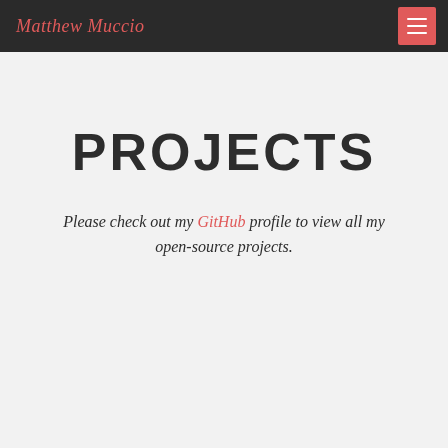Matthew Muccio
PROJECTS
Please check out my GitHub profile to view all my open-source projects.